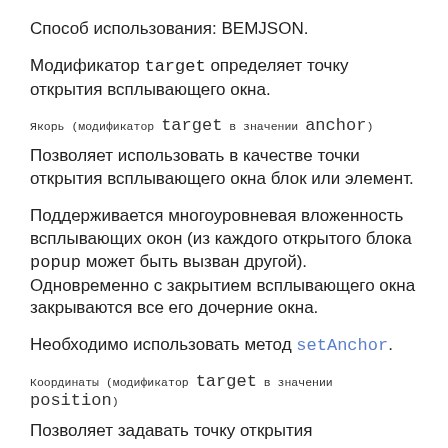Способ использования: BEMJSON.
Модификатор target определяет точку открытия всплывающего окна.
Якорь (модификатор target в значении anchor)
Позволяет использовать в качестве точки открытия всплывающего окна блок или элемент.
Поддерживается многоуровневая вложенность всплывающих окон (из каждого открытого блока popup может быть вызван другой). Одновременно с закрытием всплывающего окна закрываются все его дочерние окна.
Необходимо использовать метод setAnchor.
Координаты (модификатор target в значении position)
Позволяет задавать точку открытия